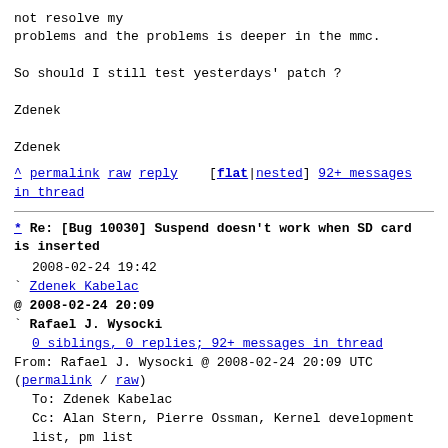not resolve my
problems and the problems is deeper in the mmc.

So should I still test yesterdays' patch ?

Zdenek

Zdenek
^ permalink raw reply    [flat|nested] 92+ messages in thread
* Re: [Bug 10030] Suspend doesn't work when SD card is inserted
  2008-02-24 19:42
` Zdenek Kabelac
@ 2008-02-24 20:09
` Rafael J. Wysocki
  0 siblings, 0 replies; 92+ messages in thread
From: Rafael J. Wysocki @ 2008-02-24 20:09 UTC
(permalink / raw)
   To: Zdenek Kabelac
   Cc: Alan Stern, Pierre Ossman, Kernel development list, pm list

On Sunday, 24 of February 2008, Zdenek Kabelac wrote:
> 2008/2/24, Alan Stern <stern@rowland.harvard.edu>:
> > On Sun, 24 Feb 2008, Rafael J. Wysocki wrote:
> >